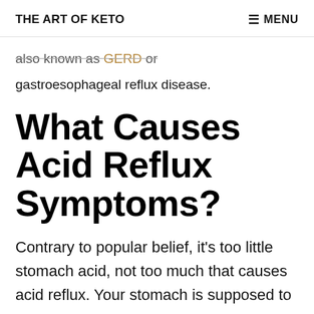THE ART OF KETO   ≡ MENU
also known as GERD or
gastroesophageal reflux disease.
What Causes Acid Reflux Symptoms?
Contrary to popular belief, it's too little stomach acid, not too much that causes acid reflux. Your stomach is supposed to